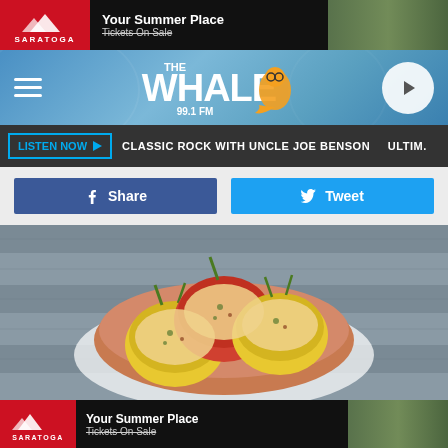[Figure (screenshot): Saratoga advertisement banner: red logo on left, 'Your Summer Place / Tickets On Sale' text, horse racing crowd photo on right]
[Figure (logo): The Whale 99.1 FM Classic Rock radio station header with hamburger menu, station logo with whale mascot, and circular play button]
LISTEN NOW  CLASSIC ROCK WITH UNCLE JOE BENSON  ULTIM.
[Figure (screenshot): Facebook Share button (blue) and Twitter Tweet button (light blue) side by side]
[Figure (photo): Stuffed bell peppers (red and yellow) topped with melted cheese in a terracotta bowl on a wooden surface with white cloth]
[Figure (screenshot): Saratoga advertisement banner at bottom: red logo on left, 'Your Summer Place / Tickets On Sale' text, horse racing crowd photo on right]